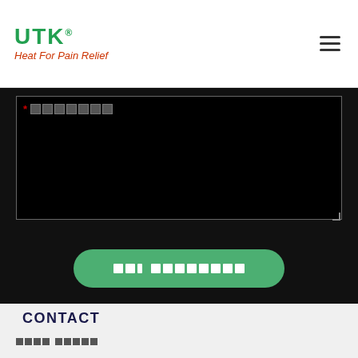UTK® Heat For Pain Relief
[Figure (screenshot): Dark form section with a textarea field (redacted label with asterisk) and a green rounded submit button with redacted text]
CONTACT
Redacted contact description text on light gray background